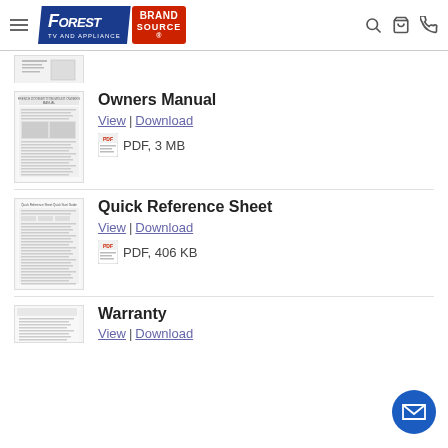[Figure (logo): Forest TV and Appliance / BrandSource logo with navigation icons]
[Figure (screenshot): Partial document thumbnail at top of page]
Owners Manual
View | Download
PDF, 3 MB
Quick Reference Sheet
View | Download
PDF, 406 KB
Warranty
View | Download